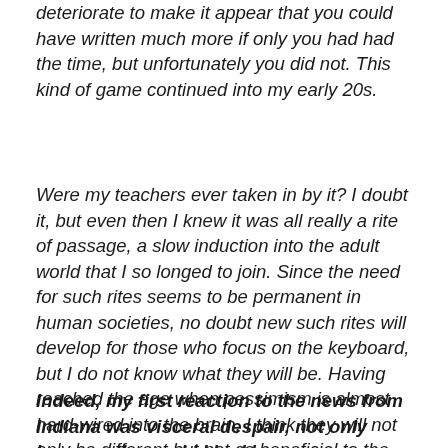deteriorate to make it appear that you could have written much more if only you had had the time, but unfortunately you did not. This kind of game continued into my early 20s.
Were my teachers ever taken in by it? I doubt it, but even then I knew it was all really a rite of passage, a slow induction into the adult world that I so longed to join. Since the need for such rites seems to be permanent in human societies, no doubt new such rites will develop for those who focus on the keyboard, but I do not know what they will be. Having reached the age when pessimism is almost hard-wired into the brain, I think they will not only be different but not as beneficial to the developing character.
Indeed, my first reaction to the news from Indiana was visceral despair, not only because the world I had known